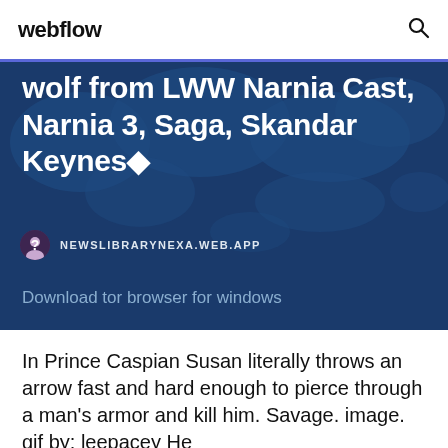webflow
[Figure (screenshot): Dark blue hero banner with a world map silhouette background. Shows partial article title text about 'wolf from LWW Narnia Cast, Narnia 3, Saga, Skandar Keynes' with an author avatar and site name NEWSLIBRARYNEXA.WEB.APP, and 'Download tor browser for windows' link text.]
In Prince Caspian Susan literally throws an arrow fast and hard enough to pierce through a man's armor and kill him. Savage. image. gif by: leepacey He